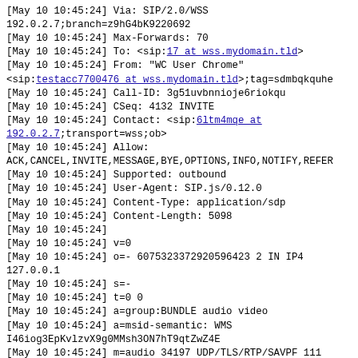[May 10 10:45:24] Via: SIP/2.0/WSS 192.0.2.7;branch=z9hG4bK9220692
[May 10 10:45:24] Max-Forwards: 70
[May 10 10:45:24] To: <sip:17 at wss.mydomain.tld>
[May 10 10:45:24] From: "WC User Chrome" <sip:testacc7700476 at wss.mydomain.tld>;tag=sdmbqkquhe
[May 10 10:45:24] Call-ID: 3g51uvbnnioje6riokqu
[May 10 10:45:24] CSeq: 4132 INVITE
[May 10 10:45:24] Contact: <sip:6ltm4mqe at 192.0.2.7;transport=wss;ob>
[May 10 10:45:24] Allow:
ACK,CANCEL,INVITE,MESSAGE,BYE,OPTIONS,INFO,NOTIFY,REFER
[May 10 10:45:24] Supported: outbound
[May 10 10:45:24] User-Agent: SIP.js/0.12.0
[May 10 10:45:24] Content-Type: application/sdp
[May 10 10:45:24] Content-Length: 5098
[May 10 10:45:24]
[May 10 10:45:24] v=0
[May 10 10:45:24] o=- 6075323372920596423 2 IN IP4 127.0.0.1
[May 10 10:45:24] s=-
[May 10 10:45:24] t=0 0
[May 10 10:45:24] a=group:BUNDLE audio video
[May 10 10:45:24] a=msid-semantic: WMS I46iog3EpKvlzvX9g0MMsh3ON7hT9qtZwZ4E
[May 10 10:45:24] m=audio 34197 UDP/TLS/RTP/SAVPF 111 103 104 9 0 8 106
105 13 110 112 113 126
[May 10 10:45:24] c=IN IP4 99.99.255.55
[May 10 10:45:24] a=rtcp:9 IN IP4 0.0.0.0